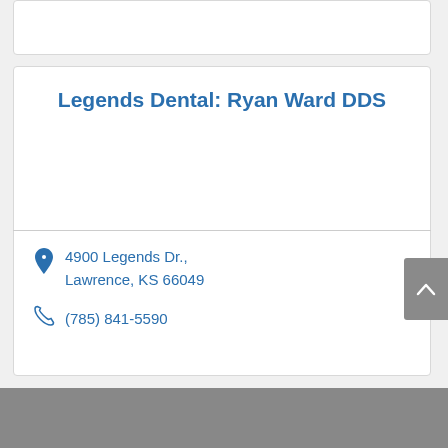Legends Dental: Ryan Ward DDS
4900 Legends Dr., Lawrence, KS 66049
(785) 841-5590
Share This